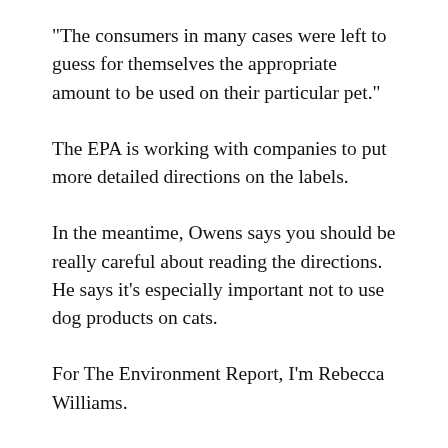“The consumers in many cases were left to guess for themselves the appropriate amount to be used on their particular pet.”
The EPA is working with companies to put more detailed directions on the labels.
In the meantime, Owens says you should be really careful about reading the directions. He says it’s especially important not to use dog products on cats.
For The Environment Report, I’m Rebecca Williams.